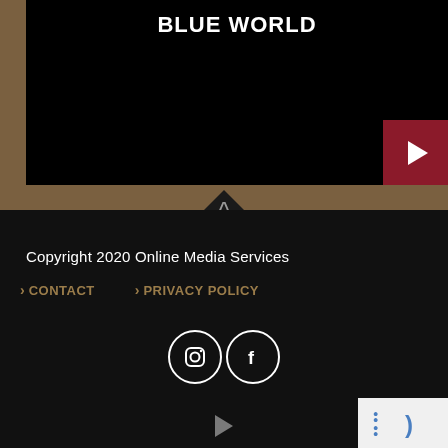[Figure (screenshot): Video player with black background showing title BLUE WORLD and a dark red play button in the bottom right corner, set against a tan/brown background]
BLUE WORLD
[Figure (other): Upward pointing arrow/chevron divider between the video section and the footer]
Copyright 2020 Online Media Services
> CONTACT
> PRIVACY POLICY
[Figure (other): Social media icons: Instagram and Facebook in white circular outlines]
[Figure (other): reCAPTCHA badge partial view in bottom right]
[Figure (other): Small play button triangle at bottom center]